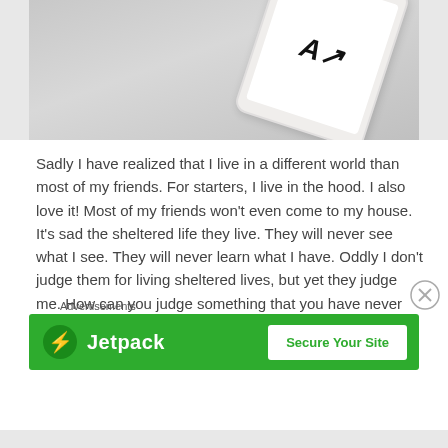[Figure (photo): Partial photo of a tablet device on a light gray surface, viewed from above at an angle, showing the screen with some content.]
Sadly I have realized that I live in a different world than most of my friends. For starters, I live in the hood. I also love it! Most of my friends won't even come to my house. It's sad the sheltered life they live. They will never see what I see. They will never learn what I have. Oddly I don't judge them for living sheltered lives, but yet they judge me. How can you judge something that you have never lived? I used to live my life like all of them. I would never go back. Having to shelter in place, I had a lot of time to think. I am
Advertisements
[Figure (screenshot): Jetpack advertisement banner with green background, Jetpack logo on left and 'Secure Your Site' button on right.]